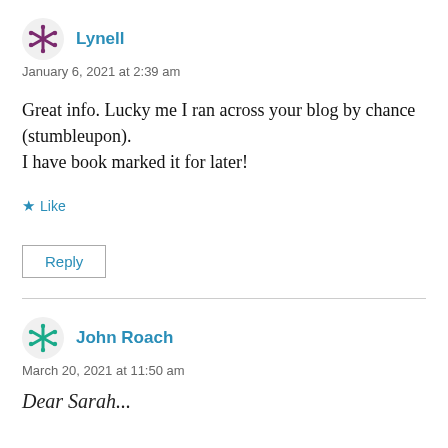Lynell
January 6, 2021 at 2:39 am
Great info. Lucky me I ran across your blog by chance (stumbleupon). I have book marked it for later!
Like
Reply
John Roach
March 20, 2021 at 11:50 am